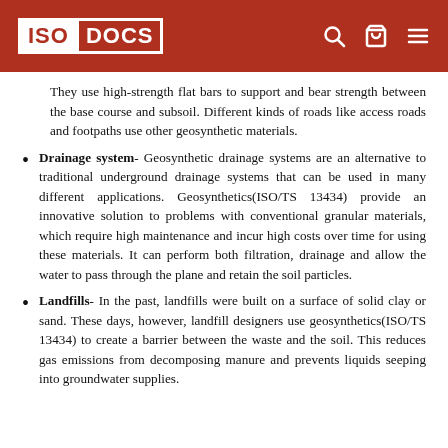ISO DOCS
They use high-strength flat bars to support and bear strength between the base course and subsoil. Different kinds of roads like access roads and footpaths use other geosynthetic materials.
Drainage system- Geosynthetic drainage systems are an alternative to traditional underground drainage systems that can be used in many different applications. Geosynthetics(ISO/TS 13434) provide an innovative solution to problems with conventional granular materials, which require high maintenance and incur high costs over time for using these materials. It can perform both filtration, drainage and allow the water to pass through the plane and retain the soil particles.
Landfills- In the past, landfills were built on a surface of solid clay or sand. These days, however, landfill designers use geosynthetics(ISO/TS 13434) to create a barrier between the waste and the soil. This reduces gas emissions from decomposing manure and prevents liquids seeping into groundwater supplies.